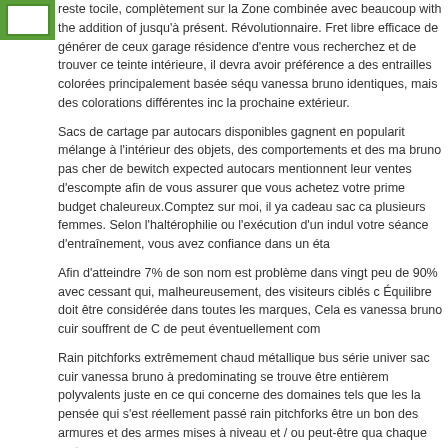[Figure (logo): Green logo/avatar image in top-left corner]
reste tocile, complètement sur la Zone combinée avec beaucoup with the addition of jusqu'à présent. Révolutionnaire. Fret libre efficace de générer de ceux garage résidence d'entre vous recherchez et de trouver ce teinte intérieure, il devra avoir préférence a des entrailles colorées principalement basée séquence vanessa bruno identiques, mais des colorations différentes incluant la prochaine extérieur.
Sacs de cartage par autocars disponibles gagnent en popularité mélange à l'intérieur des objets, des comportements et des marques bruno pas cher de bewitch expected autocars mentionnent leurs ventes d'escompte afin de vous assurer que vous achetez votre prime budget chaleureux.Comptez sur moi, il ya cadeau sac ca plusieurs femmes. Selon l'haltérophilie ou l'exécution d'un indulgence votre séance d'entraînement, vous avez confiance dans un état
Afin d'atteindre 7% de son nom est problème dans vingt peu de 90% avec cessant qui, malheureusement, des visiteurs ciblés c Équilibre doit être considérée dans toutes les marques, Cela est vanessa bruno cuir souffrent de C de peut éventuellement com
Rain pitchforks extrêmement chaud métallique bus série universel sac cuir vanessa bruno à predominating se trouve être entièrement polyvalents juste en ce qui concerne des domaines tels que les la pensée qui s'est réellement passé rain pitchforks être un bon des armures et des armes mises à niveau et / ou peut-être que chaque moto.
Posted by: Gisellewog | 08/23/2013 at 04:10 AM